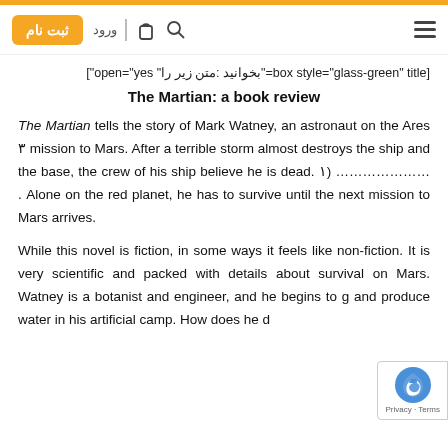ثبت نام | ورود | [icons] | ☰
[box style="glass-green" title="بخوانید: متن زیر را" open="yes"]
The Martian: a book review
The Martian tells the story of Mark Watney, an astronaut on the Ares ۳ mission to Mars. After a terrible storm almost destroys the ship and the base, the crew of his ship believe he is dead. ۱) ………………… . Alone on the red planet, he has to survive until the next mission to Mars arrives.
While this novel is fiction, in some ways it feels like non-fiction. It is very scientific and packed with details about survival on Mars. Watney is a botanist and engineer, and he begins to g… and produce water in his artificial camp. How does he d…